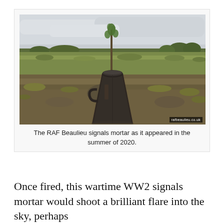[Figure (photo): An outdoor photograph showing a large dark iron/cast-metal signals mortar (a hollow cylindrical container wider at the bottom, narrowing toward the top) sitting on bare earth and sparse grass in an open heath or moorland landscape. A small sapling tree grows behind it. The background shows a flat open landscape with scrubby vegetation, some distant trees, and an overcast grey sky. A small watermark reading 'rafbeaulieu.co.uk' appears in the bottom-right corner of the image.]
The RAF Beaulieu signals mortar as it appeared in the summer of 2020.
Once fired, this wartime WW2 signals mortar would shoot a brilliant flare into the sky, perhaps